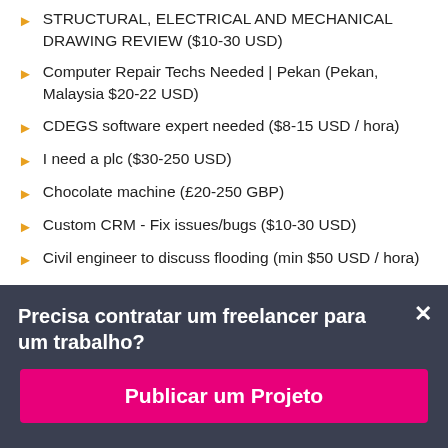STRUCTURAL, ELECTRICAL AND MECHANICAL DRAWING REVIEW ($10-30 USD)
Computer Repair Techs Needed | Pekan (Pekan, Malaysia $20-22 USD)
CDEGS software expert needed ($8-15 USD / hora)
I need a plc ($30-250 USD)
Chocolate machine (£20-250 GBP)
Custom CRM - Fix issues/bugs ($10-30 USD)
Civil engineer to discuss flooding (min $50 USD / hora)
Precisa contratar um freelancer para um trabalho?
Publicar um Projeto